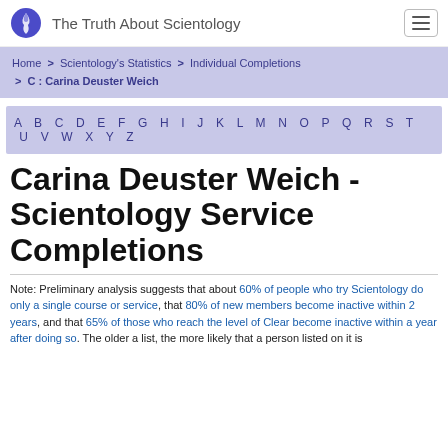The Truth About Scientology
Home > Scientology's Statistics > Individual Completions > C : Carina Deuster Weich
A B C D E F G H I J K L M N O P Q R S T U V W X Y Z
Carina Deuster Weich - Scientology Service Completions
Note: Preliminary analysis suggests that about 60% of people who try Scientology do only a single course or service, that 80% of new members become inactive within 2 years, and that 65% of those who reach the level of Clear become inactive within a year after doing so. The older a list, the more likely that a person listed on it is